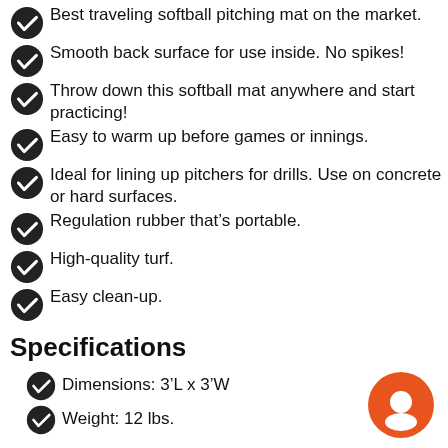Best traveling softball pitching mat on the market.
Smooth back surface for use inside. No spikes!
Throw down this softball mat anywhere and start practicing!
Easy to warm up before games or innings.
Ideal for lining up pitchers for drills. Use on concrete or hard surfaces.
Regulation rubber that's portable.
High-quality turf.
Easy clean-up.
Specifications
Dimensions: 3'L x 3'W
Weight: 12 lbs.